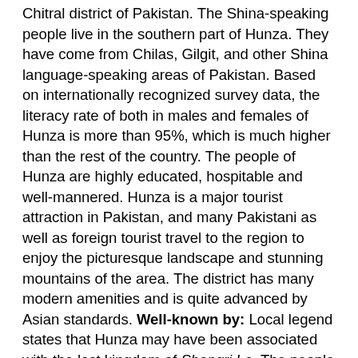Chitral district of Pakistan. The Shina-speaking people live in the southern part of Hunza. They have come from Chilas, Gilgit, and other Shina language-speaking areas of Pakistan. Based on internationally recognized survey data, the literacy rate of both in males and females of Hunza is more than 95%, which is much higher than the rest of the country. The people of Hunza are highly educated, hospitable and well-mannered. Hunza is a major tourist attraction in Pakistan, and many Pakistani as well as foreign tourist travel to the region to enjoy the picturesque landscape and stunning mountains of the area. The district has many modern amenities and is quite advanced by Asian standards. Well-known by: Local legend states that Hunza may have been associated with the lost kingdom of Shangri La. The people of Hunza are by some noted for their exceptionally long life expectancy, others describe this as a longevity narrative and cite a life expectancy of 53 years for men and 52 for women, although with a high standard deviation. DNA research groups the male ancestry of the Hunza with speakers of Pamir languages (Afghans) and the Sinte Romani (Gypsies). Burusho legend maintains that they descend from the village